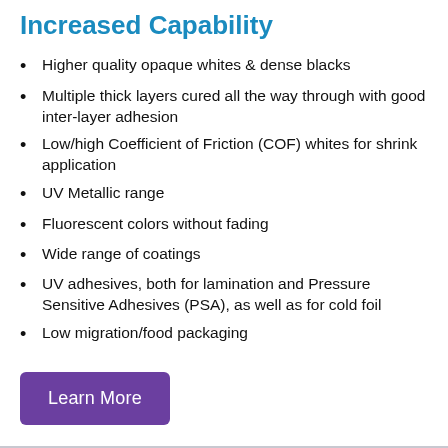Increased Capability
Higher quality opaque whites & dense blacks
Multiple thick layers cured all the way through with good inter-layer adhesion
Low/high Coefficient of Friction (COF) whites for shrink application
UV Metallic range
Fluorescent colors without fading
Wide range of coatings
UV adhesives, both for lamination and Pressure Sensitive Adhesives (PSA), as well as for cold foil
Low migration/food packaging
Learn More